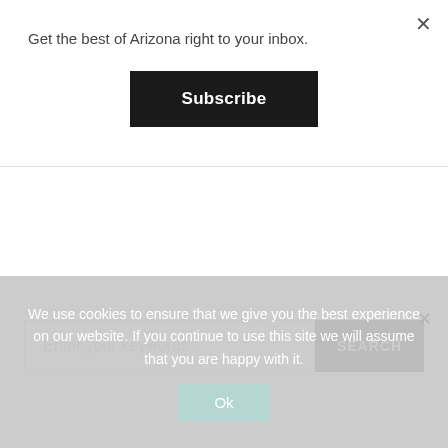Get the best of Arizona right to your inbox.
Subscribe
Enter your keywords...
SEARCH
We use cookies to ensure that we give you the best experience on our website. If you continue to use this site we will assume that you are happy with it.
Ok